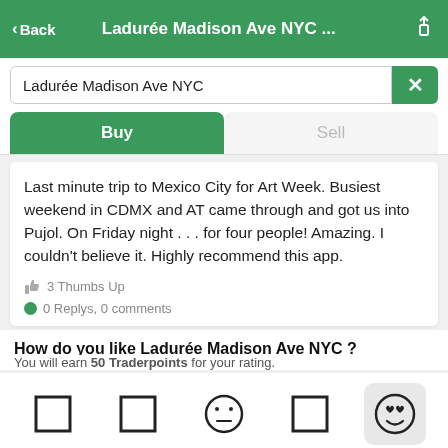< Back   Ladurée Madison Ave NYC ...
Ladurée Madison Ave NYC
Buy / Sell
Last minute trip to Mexico City for Art Week. Busiest weekend in CDMX and AT came through and got us into Pujol. On Friday night . . . for four people! Amazing. I couldn't believe it. Highly recommend this app.
3 Thumbs Up
0 Replys, 0 comments
How do you like Ladurée Madison Ave NYC ?
You will earn 50 Traderpoints for your rating.
[Figure (other): Rating emoji buttons row with 5 emoji faces, last one selected with smiley face with heart eyes on highlighted background]